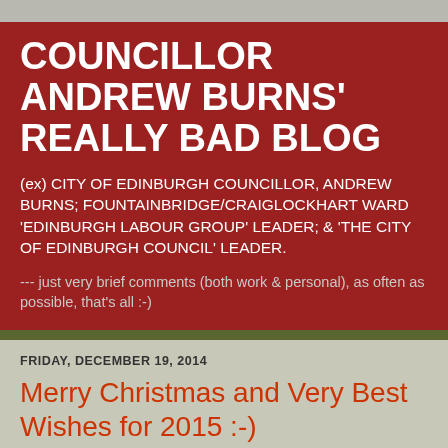COUNCILLOR ANDREW BURNS' REALLY BAD BLOG
(ex) CITY OF EDINBURGH COUNCILLOR, ANDREW BURNS; FOUNTAINBRIDGE/CRAIGLOCKHART WARD 'EDINBURGH LABOUR GROUP' LEADER; & 'THE CITY OF EDINBURGH COUNCIL' LEADER.
--- just very brief comments (both work & personal), as often as possible, that's all :-)
FRIDAY, DECEMBER 19, 2014
Merry Christmas and Very Best Wishes for 2015 :-)